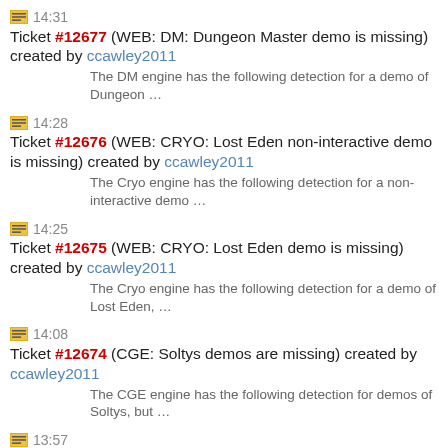14:31 Ticket #12677 (WEB: DM: Dungeon Master demo is missing) created by ccawley2011
The DM engine has the following detection for a demo of Dungeon …
14:28 Ticket #12676 (WEB: CRYO: Lost Eden non-interactive demo is missing) created by ccawley2011
The Cryo engine has the following detection for a non-interactive demo …
14:25 Ticket #12675 (WEB: CRYO: Lost Eden demo is missing) created by ccawley2011
The Cryo engine has the following detection for a demo of Lost Eden, …
14:08 Ticket #12674 (CGE: Soltys demos are missing) created by ccawley2011
The CGE engine has the following detection for demos of Soltys, but …
13:57 Ticket #12673 (ASYLUM: Demo crashes on startup) created by ccawley2011
The demo version currently errors on startup: ERROR: …